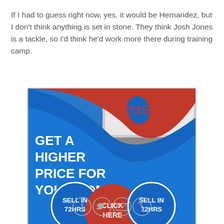If I had to guess right now, yes, it would be Hernandez, but I don't think anything is set in stone. They think Josh Jones is a tackle, so I'd think he'd work more there during training camp.
[Figure (infographic): 72SOLD real estate advertisement. Blue and red wavy background with kitchen photo. Text: GET A HIGHER PRICE FOR YOUR HOME. Three circles: SELL IN 72HRS (blue), CLICK HERE (red), SELL IN 72HRS (blue). Logo: 72SOLD.]
[Figure (infographic): Social media share icons row: Facebook, Twitter, Email, Link/chain]